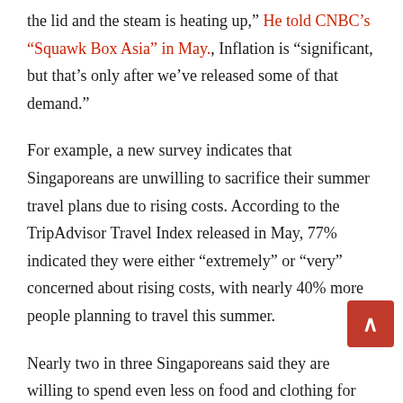the lid and the steam is heating up," He told CNBC's "Squawk Box Asia" in May., Inflation is "significant, but that's only after we've released some of that demand."
For example, a new survey indicates that Singaporeans are unwilling to sacrifice their summer travel plans due to rising costs. According to the TripAdvisor Travel Index released in May, 77% indicated they were either "extremely" or "very" concerned about rising costs, with nearly 40% more people planning to travel this summer.
Nearly two in three Singaporeans said they are willing to spend even less on food and clothing for their travels.
Conversely, travel flexibility may be less strong in places where some demand has slowed, such as Europe and North America.
According to a March survey published in the Country Financial Security Index report, nearly a quarter (23%) of Americans